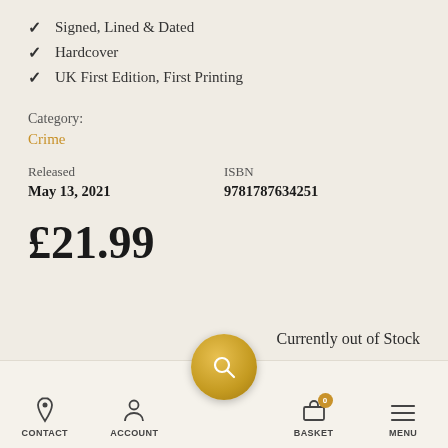✓ Signed, Lined & Dated
✓ Hardcover
✓ UK First Edition, First Printing
Category:
Crime
Released
May 13, 2021
ISBN
9781787634251
£21.99
Currently out of Stock
CONTACT   ACCOUNT   BASKET   MENU